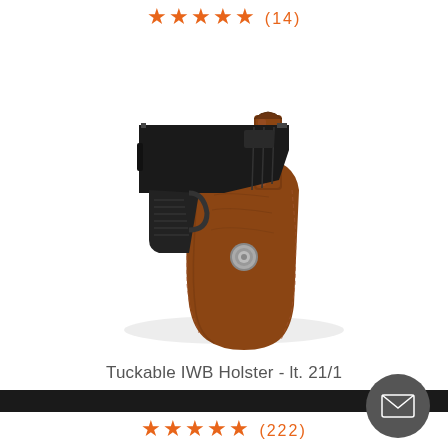★★★★★ (14)
[Figure (photo): A brown leather tuckable IWB (inside waistband) holster holding a black semi-automatic handgun. The holster is brown/tan leather with stitching detail, a metal snap button, and a belt clip at the top.]
Tuckable IWB Holster - lt. 21/1
$79
★★★★★ (222)